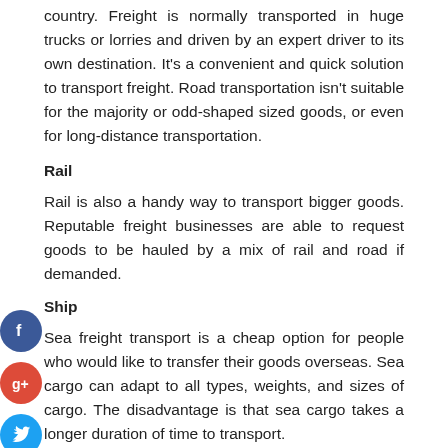country. Freight is normally transported in huge trucks or lorries and driven by an expert driver to its own destination. It's a convenient and quick solution to transport freight. Road transportation isn't suitable for the majority or odd-shaped sized goods, or even for long-distance transportation.
Rail
Rail is also a handy way to transport bigger goods. Reputable freight businesses are able to request goods to be hauled by a mix of rail and road if demanded.
Ship
Sea freight transport is a cheap option for people who would like to transfer their goods overseas. Sea cargo can adapt to all types, weights, and sizes of cargo. The disadvantage is that sea cargo takes a longer duration of time to transport.
Air